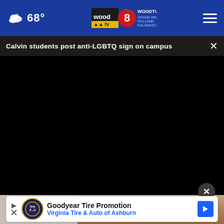68° WOODTV.COM GRAND RAPIDS HOLLAND KALAMAZOO wood 8
Calvin students post anti-LGBTQ sign on campus
[Figure (screenshot): Black video player area embedded in webpage]
[Figure (photo): Partial photo of person's feet/shoes at bottom of page]
Goodyear Tire Promotion Virginia Tire & Auto of Ashburn